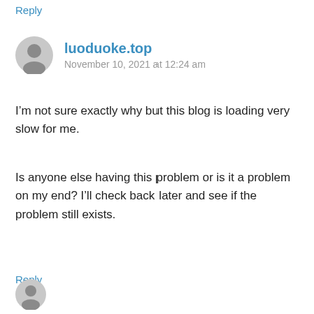Reply
luoduoke.top
November 10, 2021 at 12:24 am
I’m not sure exactly why but this blog is loading very slow for me.
Is anyone else having this problem or is it a problem on my end? I’ll check back later and see if the problem still exists.
Reply